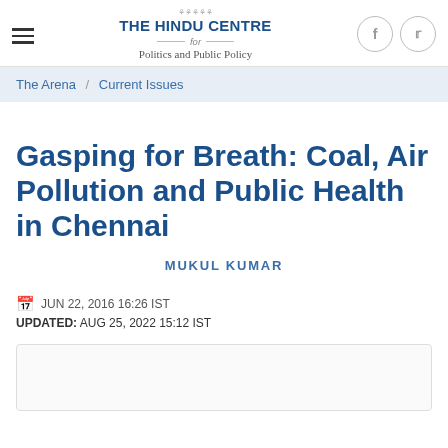THE HINDU CENTRE for Politics and Public Policy
The Arena / Current Issues
Gasping for Breath: Coal, Air Pollution and Public Health in Chennai
MUKUL KUMAR
JUN 22, 2016 16:26 IST
UPDATED: AUG 25, 2022 15:12 IST